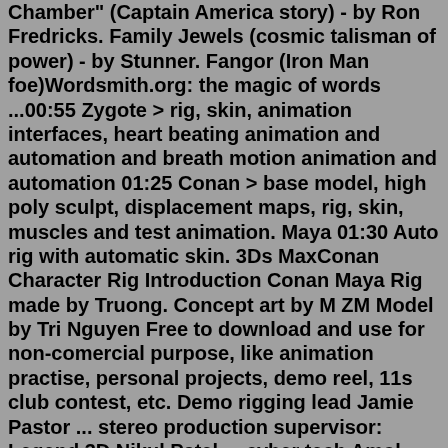Chamber" (Captain America story) - by Ron Fredricks. Family Jewels (cosmic talisman of power) - by Stunner. Fangor (Iron Man foe)Wordsmith.org: the magic of words ...00:55 Zygote > rig, skin, animation interfaces, heart beating animation and automation and breath motion animation and automation 01:25 Conan > base model, high poly sculpt, displacement maps, rig, skin, muscles and test animation. Maya 01:30 Auto rig with automatic skin. 3Ds MaxConan Character Rig Introduction Conan Maya Rig made by Truong. Concept art by M ZM Model by Tri Nguyen Free to download and use for non-comercial purpose, like animation practise, personal projects, demo reel, 11s club contest, etc. Demo rigging lead Jamie Pastor ... stereo production supervisor: Legend 3D Nikul Patel ... cyber tech Amol Patil ... matchmove artist: Reliance Media Works Bhushan Patil ... digital compositor Shreyas Patil ... stereo artist Desislava Pavlova ... visual effects coordinator Aragon Pawson ... Painting skin weights in Maya – PART 02 of Character rigging with